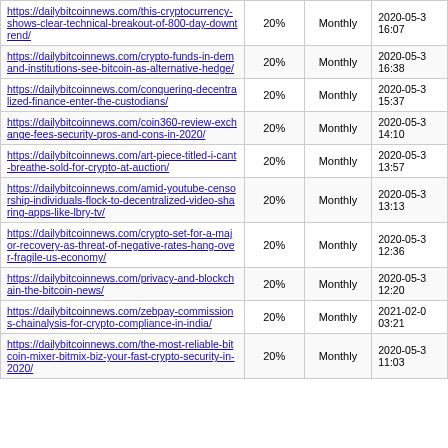| URL | Percentage | Frequency | Date |
| --- | --- | --- | --- |
| https://dailybitcoinnews.com/this-cryptocurrency-shows-clear-technical-breakout-of-800-day-downtrend/ | 20% | Monthly | 2020-05-3 16:07 |
| https://dailybitcoinnews.com/crypto-funds-in-demand-institutions-see-bitcoin-as-alternative-hedge/ | 20% | Monthly | 2020-05-3 16:38 |
| https://dailybitcoinnews.com/conquering-decentralized-finance-enter-the-custodians/ | 20% | Monthly | 2020-05-3 15:37 |
| https://dailybitcoinnews.com/coin360-review-exchange-fees-security-pros-and-cons-in-2020/ | 20% | Monthly | 2020-05-3 14:10 |
| https://dailybitcoinnews.com/art-piece-titled-i-cant-breathe-sold-for-crypto-at-auction/ | 20% | Monthly | 2020-05-3 13:57 |
| https://dailybitcoinnews.com/amid-youtube-censorship-individuals-flock-to-decentralized-video-sharing-apps-like-lbry-tv/ | 20% | Monthly | 2020-05-3 13:13 |
| https://dailybitcoinnews.com/crypto-set-for-a-major-recovery-as-threat-of-negative-rates-hang-over-fragile-us-economy/ | 20% | Monthly | 2020-05-3 12:36 |
| https://dailybitcoinnews.com/privacy-and-blockchain-the-bitcoin-news/ | 20% | Monthly | 2020-05-3 12:20 |
| https://dailybitcoinnews.com/zebpay-commissions-chainalysis-for-crypto-compliance-in-india/ | 20% | Monthly | 2021-02-0 03:21 |
| https://dailybitcoinnews.com/the-most-reliable-bitcoin-mixer-bitmix-biz-your-fast-crypto-security-in-2020/ | 20% | Monthly | 2020-05-3 11:03 |